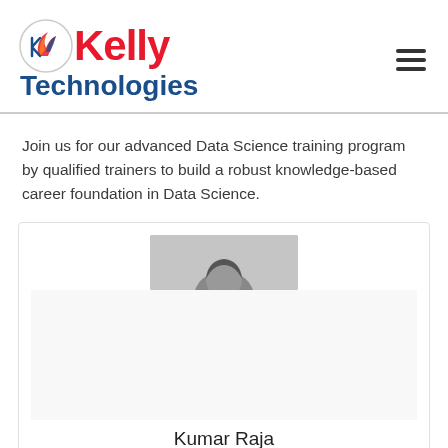Kelly Technologies
Join us for our advanced Data Science training program by qualified trainers to build a robust knowledge-based career foundation in Data Science.
[Figure (photo): Profile photo of Kumar Raja, partially visible at top of card, grayscale image]
Kumar Raja